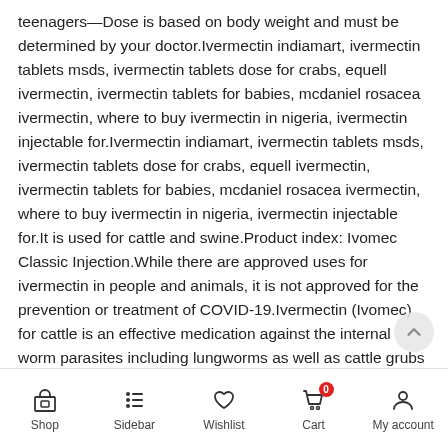teenagers—Dose is based on body weight and must be determined by your doctor.Ivermectin indiamart, ivermectin tablets msds, ivermectin tablets dose for crabs, equell ivermectin, ivermectin tablets for babies, mcdaniel rosacea ivermectin, where to buy ivermectin in nigeria, ivermectin injectable for.Ivermectin indiamart, ivermectin tablets msds, ivermectin tablets dose for crabs, equell ivermectin, ivermectin tablets for babies, mcdaniel rosacea ivermectin, where to buy ivermectin in nigeria, ivermectin injectable for.It is used for cattle and swine.Product index: Ivomec Classic Injection.While there are approved uses for ivermectin in people and animals, it is not approved for the prevention or treatment of COVID-19.Ivermectin (Ivomec) for cattle is an effective medication against the internal worm parasites including lungworms as well as cattle grubs and sucking lice.Home How often to give ivermectin to chickens mayo 2020.The simple truth is that vaccines, injectable vitamins, minerals, antibiotics, anti-inflammatory drugs and other animal
Shop | Sidebar | Wishlist | Cart 0 | My account